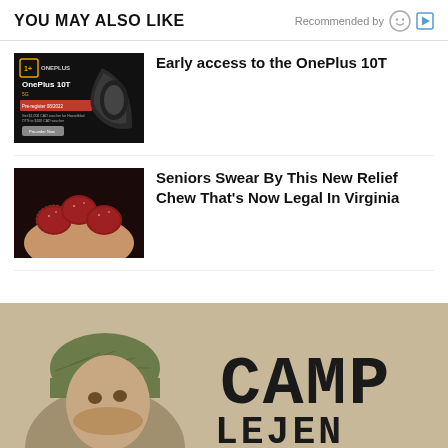YOU MAY ALSO LIKE   Recommended by
[Figure (photo): OnePlus 10T advertisement with phone image on dark background]
Early access to the OnePlus 10T
[Figure (photo): Hand holding red sugar-coated gummy candies on dark background]
Seniors Swear By This New Relief Chew That's Now Legal In Virginia
[Figure (photo): Man in military helmet with CAMP text overlay on tan/beige background]